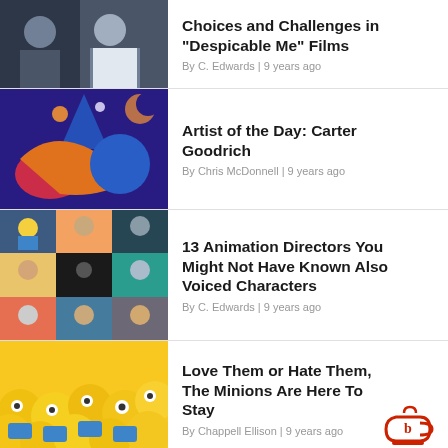[Figure (photo): Two men photographed together, article thumbnail for Despicable Me Films]
Choices and Challenges in “Despicable Me” Films
By C. Edwards | 9 years ago
[Figure (illustration): Colorful animated fantasy artwork with wizard hat character]
Artist of the Day: Carter Goodrich
By Chris McDonnell | 9 years ago
[Figure (photo): Collage of animation director portrait photos and character stills]
13 Animation Directors You Might Not Have Known Also Voiced Characters
By C. Edwards | 9 years ago
[Figure (photo): Crowd of yellow Minions characters]
Love Them or Hate Them, The Minions Are Here To Stay
By Chappell Ellison | 9 years ago
[Figure (logo): Cartoon Brew logo]
Weekend Box Office Report
By Amid Amidi | 12 years ago